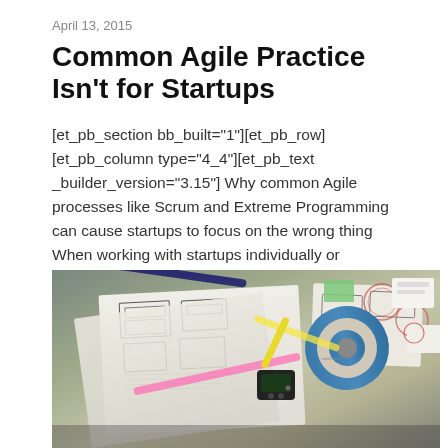April 13, 2015
Common Agile Practice Isn't for Startups
[et_pb_section bb_built="1"][et_pb_row][et_pb_column type="4_4"][et_pb_text _builder_version="3.15"] Why common Agile processes like Scrum and Extreme Programming can cause startups to focus on the wrong thing When working with startups individually or coaching in…
Read More
[Figure (photo): A desk top view showing papers with wireframe sketches and diagrams, highlighters (pink, yellow), blue tape roll, a small timer device, pens, and sticky notes spread across the surface.]